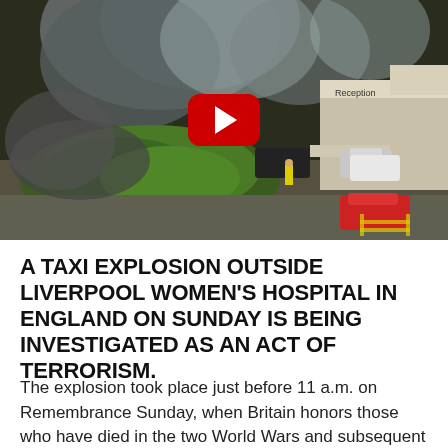[Figure (photo): CCTV footage screenshot showing a car explosion with heavy smoke outside what appears to be a hospital entrance, with people and parked cars visible. A red YouTube play button is overlaid in the center.]
A TAXI EXPLOSION OUTSIDE LIVERPOOL WOMEN'S HOSPITAL IN ENGLAND ON SUNDAY IS BEING INVESTIGATED AS AN ACT OF TERRORISM.
The explosion took place just before 11 a.m. on Remembrance Sunday, when Britain honors those who have died in the two World Wars and subsequent conflicts.